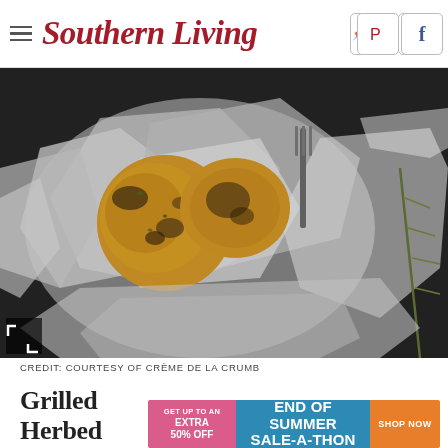Southern Living
[Figure (photo): Grilled herbed chicken and potatoes in an open aluminum foil packet on a dark surface, with a fork visible, photographed from above.]
CREDIT: COURTESY OF CRÈME DE LA CRUMB
Grilled Herbed Chicken and Potatoes in Foil
[Figure (infographic): Advertisement banner: pink left panel reading GET UP TO AN EXTRA 50% OFF, blue center panel reading END OF SUMMER SALE-A-THON, orange right panel reading SHOP NOW]